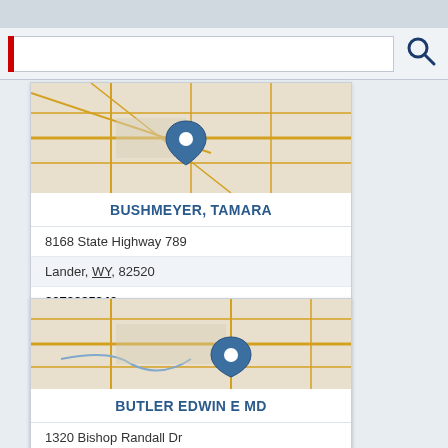[Figure (screenshot): Top navigation bar strip]
[Figure (screenshot): Search bar with red vertical bar, text input field, and search icon]
[Figure (map): Map showing location pin for Bushmeyer Tamara in Lander WY area]
BUSHMEYER, TAMARA
8168 State Highway 789
Lander, WY, 82520
3073325240
Aquatic Therapy
Massage Therapy
Nuru Massage Therapist
Pain Clinic
Pain Doctor
[Figure (map): Map showing location pin for Butler Edwin E MD in Lander WY area]
BUTLER EDWIN E MD
1320 Bishop Randall Dr
Lander, WY, 82520
3073324420